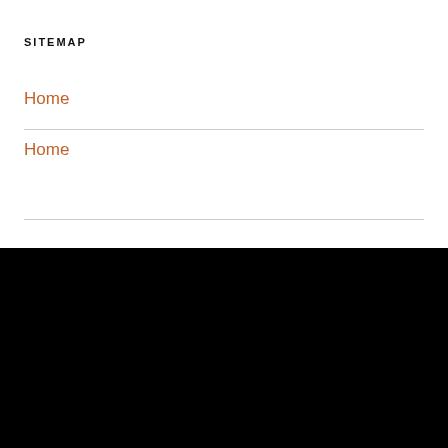SITEMAP
Home
Home
DISCLAIMER
The information provided on this website Workbootsmaster.com (the “Site”) is for general information purposes only. All information on the site is provided in good faith. However, we make no representation or warranty of any kind, express or implicit, regarding the accuracy, adequacy, validity